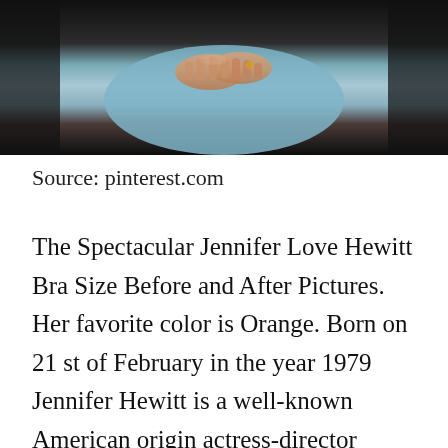[Figure (photo): Photograph showing clasped hands of a person wearing a light blue top, dark background on sides]
Source: pinterest.com
The Spectacular Jennifer Love Hewitt Bra Size Before and After Pictures. Her favorite color is Orange. Born on 21 st of February in the year 1979 Jennifer Hewitt is a well-known American origin actress-director songwriter as well as producer and singer. Jennifer Love Hewitt is back and simply irresistible. She always keeps on surprising with